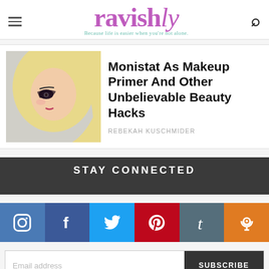ravishly — Because life is easier when you're not alone.
Monistat As Makeup Primer And Other Unbelievable Beauty Hacks
REBEKAH KUSCHMIDER
STAY CONNECTED
[Figure (infographic): Social media icon buttons: Instagram (blue), Facebook (dark blue), Twitter (light blue), Pinterest (red), Tumblr (slate), Podcast (orange)]
Email address
SUBSCRIBE